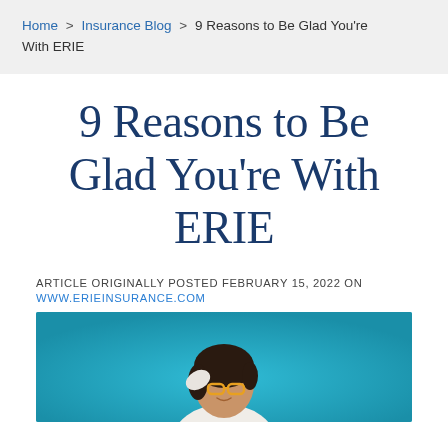Home > Insurance Blog > 9 Reasons to Be Glad You're With ERIE
9 Reasons to Be Glad You're With ERIE
ARTICLE ORIGINALLY POSTED FEBRUARY 15, 2022 ON
WWW.ERIEINSURANCE.COM
[Figure (photo): A woman with dark hair smiling, adjusting yellow glasses, wearing a white top, against a teal/blue background.]